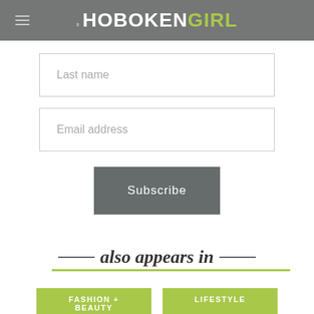THE HOBOKEN GIRL
Last name
Email address
Subscribe
also appears in
FASHION + BEAUTY
LIFESTYLE